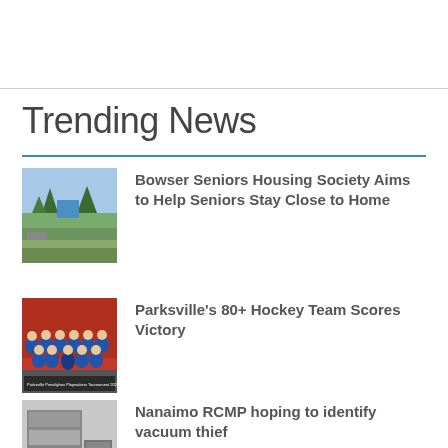Trending News
Bowser Seniors Housing Society Aims to Help Seniors Stay Close to Home
Parksville's 80+ Hockey Team Scores Victory
Nanaimo RCMP hoping to identify vacuum thief